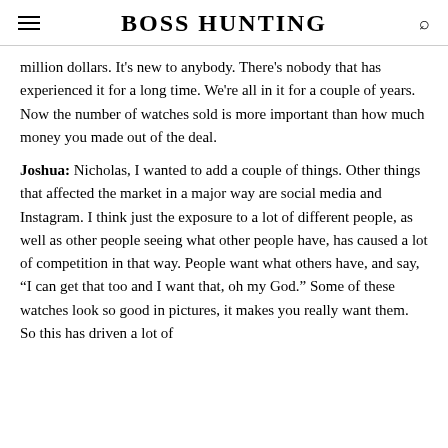BOSS HUNTING
million dollars. It’s new to anybody. There’s nobody that has experienced it for a long time. We’re all in it for a couple of years. Now the number of watches sold is more important than how much money you made out of the deal.
Joshua: Nicholas, I wanted to add a couple of things. Other things that affected the market in a major way are social media and Instagram. I think just the exposure to a lot of different people, as well as other people seeing what other people have, has caused a lot of competition in that way. People want what others have, and say, “I can get that too and I want that, oh my God.” Some of these watches look so good in pictures, it makes you really want them. So this has driven a lot of